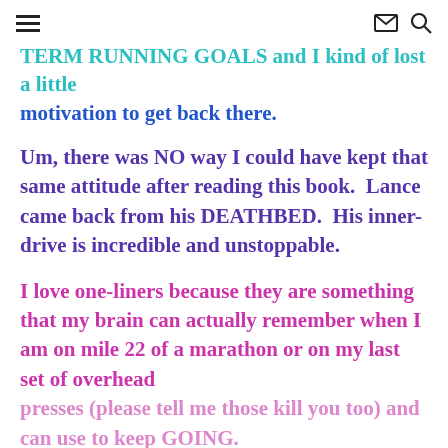hamburger menu, mail icon, search icon
TERM RUNNING GOALS and I kind of lost a little motivation to get back there.
Um, there was NO way I could have kept that same attitude after reading this book. Lance came back from his DEATHBED. His inner-drive is incredible and unstoppable.
I love one-liners because they are something that my brain can actually remember when I am on mile 22 of a marathon or on my last set of overhead presses (please tell me those kill you too) and can use to keep GOING.